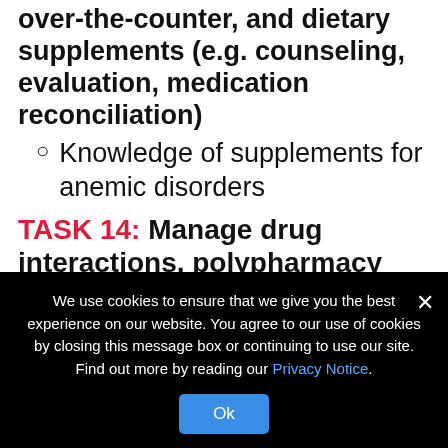manage use of herbs, over-the-counter, and dietary supplements (e.g. counseling, evaluation, medication reconciliation)
Knowledge of supplements for anemic disorders
TASK 14: Manage drug interactions, polypharmacy and overprescribing
Knowledge of
1. Types of drug interactions (e.g.
We use cookies to ensure that we give you the best experience on our website. You agree to our use of cookies by closing this message box or continuing to use our site. Find out more by reading our Privacy Notice.